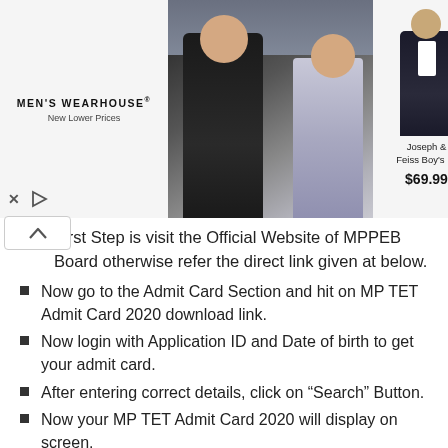[Figure (photo): Advertisement banner for Men's Wearhouse showing a couple in formal wear and a boy's suit priced at $69.99]
First Step is visit the Official Website of MPPEB Board otherwise refer the direct link given at below.
Now go to the Admit Card Section and hit on MP TET Admit Card 2020 download link.
Now login with Application ID and Date of birth to get your admit card.
After entering correct details, click on “Search” Button.
Now your MP TET Admit Card 2020 will display on screen.
Check the details provided in your admit card and take